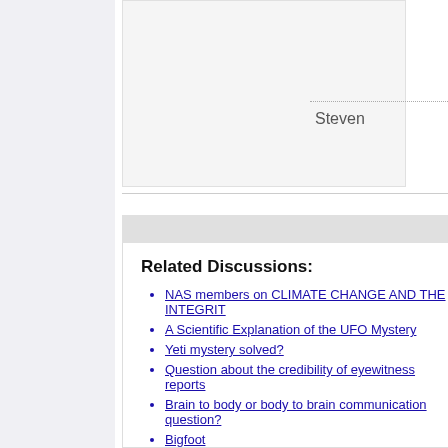Steven
Related Discussions:
NAS members on CLIMATE CHANGE AND THE INTEGRIT
A Scientific Explanation of the UFO Mystery
Yeti mystery solved?
Question about the credibility of eyewitness reports
Brain to body or body to brain communication question?
Bigfoot
Diatomaceous earth, food grade, is this really so good , or c
Tree Lobsters: Skeptics & Charlatans
Infrasound?
Tam 7 and the termination of the James Randi MDC